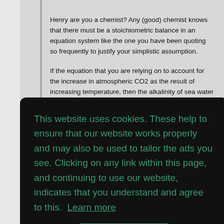Henry are you a chemist? Any (good) chemist knows that there must be a stoichiometric balance in an equation system like the one you have been quoting so frequently to justify your simplistic assumption.
If the equation that you are relying on to account for the increase in atmospheric CO2 as the result of increasing temperature, then the alkalinity of sea water would be rising in accordance with the increase in atmospheric
[Figure (screenshot): Cookie consent overlay on dark background with green text reading: 'This website uses cookies. These help to ensure that our website works properly and may also be used to tailor the ads you see. Clicking on any link within this page, and continuing to use our website, indicates that you understand and agree to this. Learn more' and a green 'Got it!' button.]
absorbing CO2. (By the way this has been confirmed by